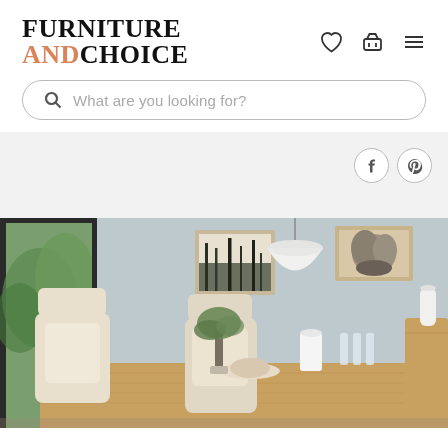[Figure (logo): Furniture And Choice logo - FURNITURE in black bold serif, ANDCHOICE with AND in salmon/coral color and CHOICE in black]
[Figure (screenshot): Navigation icons: heart/wishlist icon, basket/cart icon, hamburger menu icon]
[Figure (screenshot): Search bar with magnifying glass icon and placeholder text]
What are you looking for?
[Figure (screenshot): Gray banner area with Facebook and Pinterest social media circular icons on the right]
[Figure (photo): Dining room scene: oak wood dining table with cream upholstered chairs, white dome pendant light hanging from ceiling, framed art prints on light blue-gray wall, glassware and tableware on table, green plant, large windows showing greenery outside, sideboard on right]